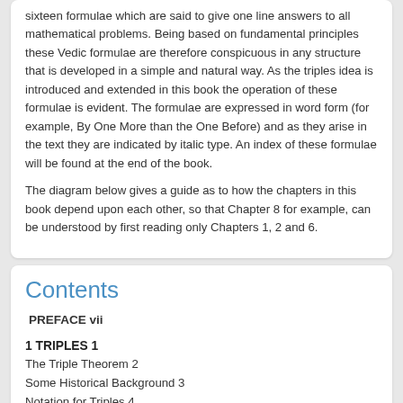sixteen formulae which are said to give one line answers to all mathematical problems. Being based on fundamental principles these Vedic formulae are therefore conspicuous in any structure that is developed in a simple and natural way. As the triples idea is introduced and extended in this book the operation of these formulae is evident. The formulae are expressed in word form (for example, By One More than the One Before) and as they arise in the text they are indicated by italic type. An index of these formulae will be found at the end of the book.
The diagram below gives a guide as to how the chapters in this book depend upon each other, so that Chapter 8 for example, can be understood by first reading only Chapters 1, 2 and 6.
Contents
PREFACE vii
1 TRIPLES 1
The Triple Theorem 2
Some Historical Background 3
Notation for Triples 4
Equal, Prime and Complementary Triples 5
Some Perfect Triples 6
2 TRIPLE ARITHMETIC 7